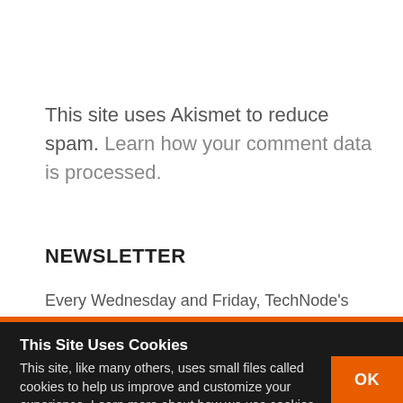This site uses Akismet to reduce spam. Learn how your comment data is processed.
NEWSLETTER
Every Wednesday and Friday, TechNode's Briefing newsletter
This Site Uses Cookies
This site, like many others, uses small files called cookies to help us improve and customize your experience. Learn more about how we use cookies in our cookie policy.
OK